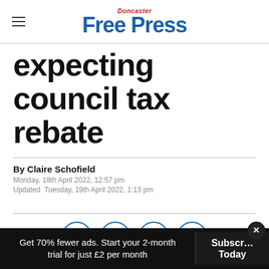Doncaster Free Press
expecting council tax rebate
By Claire Schofield
Monday, 18th April 2022, 12:57 pm
Updated  Tuesday, 19th April 2022, 1:13 pm
[Figure (other): Social sharing icons: Facebook, Twitter, WhatsApp, Email — circular blue outlined icons]
Get 70% fewer ads. Start your 2-month trial for just £2 per month
Subscribe Today